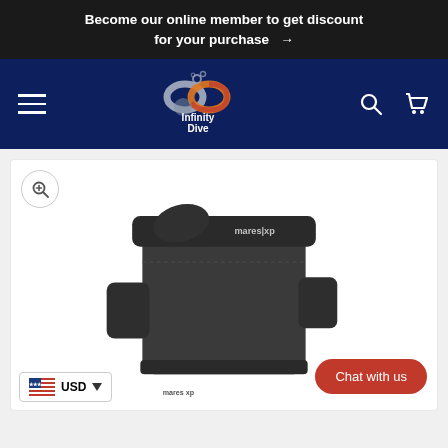Become our online member to get discount for your purchase →
[Figure (logo): Infinity Dive logo with infinity symbol in orange/red on dark blue navigation bar, with hamburger menu, search icon, and cart icon]
[Figure (photo): Mares XP diving equipment product photo showing dark gray/black BCD or dive shorts on white background]
USD
Chat with us